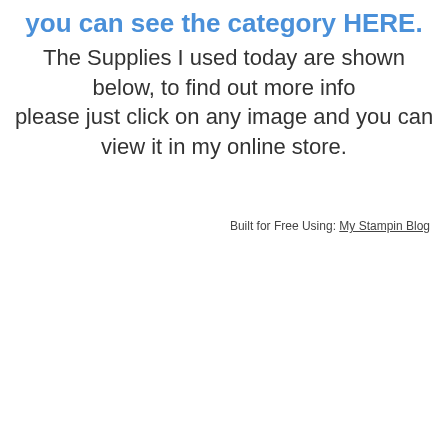you can see the category HERE.
The Supplies I used today are shown below, to find out more info please just click on any image and you can view it in my online store.
Built for Free Using: My Stampin Blog